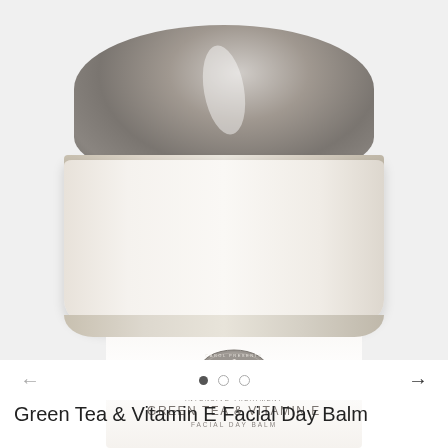[Figure (photo): A round cosmetic jar with a grey lid and white label reading 'Carol Presents Natural Cosmetics' with an oval logo, 'Intensive Treatment Green Tea & Vitamin E Facial Day Balm', photographed on a light grey background.]
Green Tea & Vitamin E Facial Day Balm